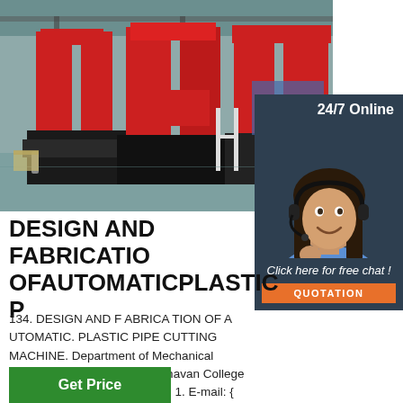[Figure (photo): Industrial factory floor with large red and black automated plastic pipe cutting machines. Red components are prominent, factory ceiling with crane visible in background.]
[Figure (photo): 24/7 Online customer service panel: dark blue background with text '24/7 Online', photo of smiling woman wearing headset in blue shirt, 'Click here for free chat!' text in white italic, and orange 'QUOTATION' button.]
DESIGN AND FABRICATION OFAUTOMATICPLASTIC P
134. DESIGN AND F ABRICA TION OF A UTOMATIC. PLASTIC PIPE CUTTING MACHINE. Department of Mechanical Engineering, Y eshwantrao Chavan College of Engineering, Nagpur (India) 1. E-mail: { ...
Get Price